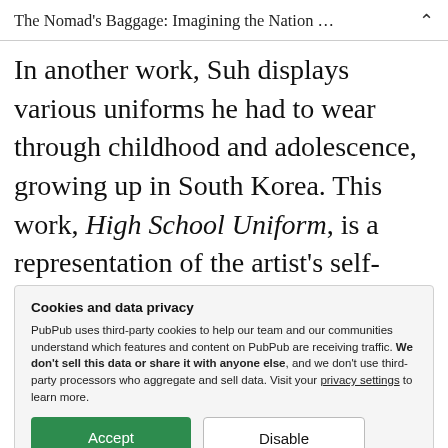The Nomad's Baggage: Imagining the Nation …
In another work, Suh displays various uniforms he had to wear through childhood and adolescence, growing up in South Korea. This work, High School Uniform, is a representation of the artist's self-portrait, showing uniforms he wore through life from kindergarten to adulthood. Uniform is nothing unique to
Cookies and data privacy
PubPub uses third-party cookies to help our team and our communities understand which features and content on PubPub are receiving traffic. We don't sell this data or share it with anyone else, and we don't use third-party processors who aggregate and sell data. Visit your privacy settings to learn more.
history of modern South Korea. The above